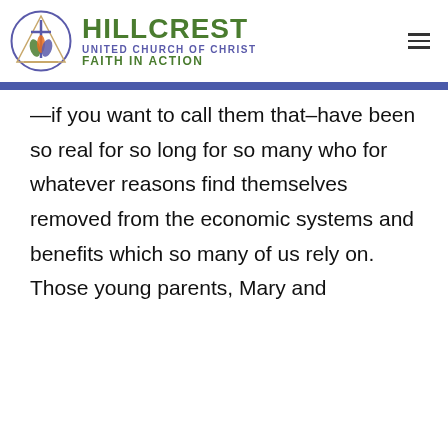HILLCREST UNITED CHURCH OF CHRIST FAITH IN ACTION
—if you want to call them that–have been so real for so long for so many who for whatever reasons find themselves removed from the economic systems and benefits which so many of us rely on.  Those young parents, Mary and